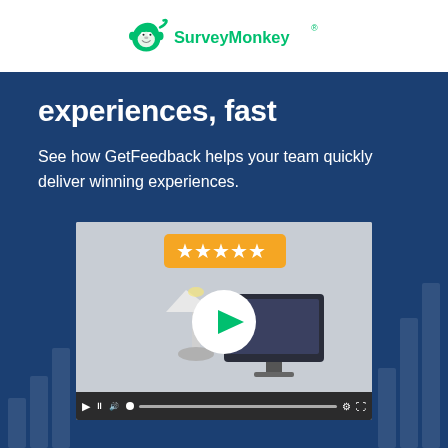SurveyMonkey
experiences, fast
See how GetFeedback helps your team quickly deliver winning experiences.
[Figure (screenshot): Video thumbnail showing a lamp and computer monitor with a play button overlay, five gold stars on an orange badge, and video player controls bar at the bottom.]